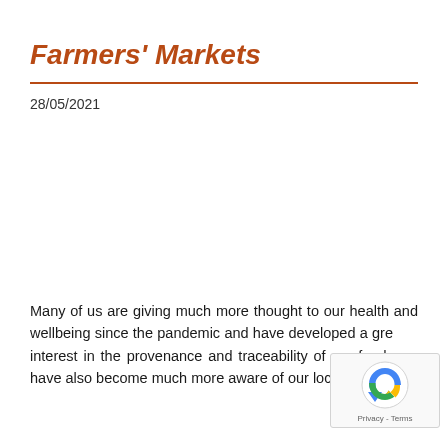Farmers' Markets
28/05/2021
Many of us are giving much more thought to our health and wellbeing since the pandemic and have developed a greater interest in the provenance and traceability of our food. We have also become much more aware of our local community